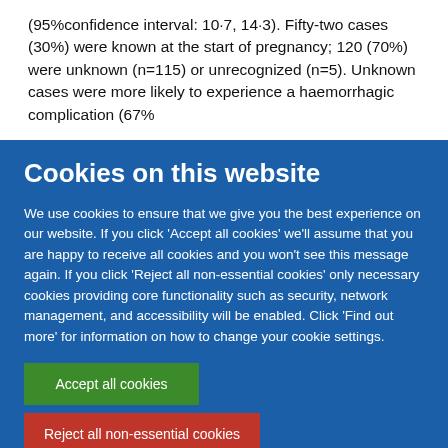(95%confidence interval: 10·7, 14·3). Fifty-two cases (30%) were known at the start of pregnancy; 120 (70%) were unknown (n=115) or unrecognized (n=5). Unknown cases were more likely to experience a haemorrhagic complication (67%
Cookies on this website
We use cookies to ensure that we give you the best experience on our website. If you click 'Accept all cookies' we'll assume that you are happy to receive all cookies and you won't see this message again. If you click 'Reject all non-essential cookies' only necessary cookies providing core functionality such as security, network management, and accessibility will be enabled. Click 'Find out more' for information on how to change your cookie settings.
Accept all cookies
Reject all non-essential cookies
Find out more